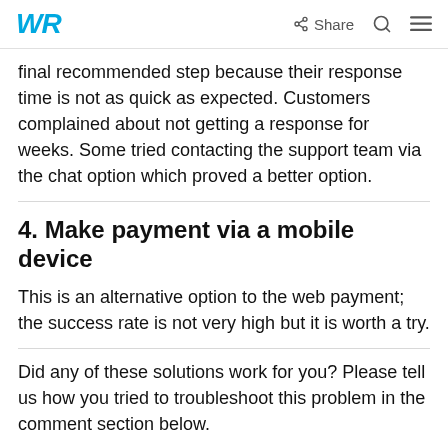WR | Share
final recommended step because their response time is not as quick as expected. Customers complained about not getting a response for weeks. Some tried contacting the support team via the chat option which proved a better option.
4. Make payment via a mobile device
This is an alternative option to the web payment; the success rate is not very high but it is worth a try.
Did any of these solutions work for you? Please tell us how you tried to troubleshoot this problem in the comment section below.